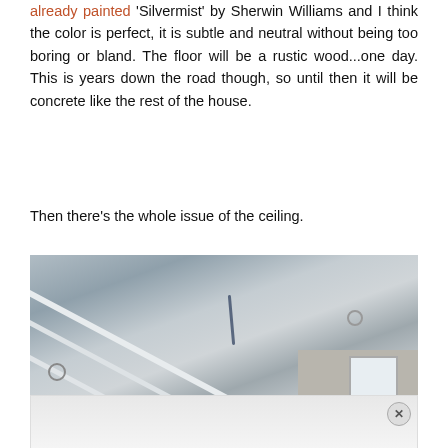already painted 'Silvermist' by Sherwin Williams and I think the color is perfect, it is subtle and neutral without being too boring or bland. The floor will be a rustic wood...one day. This is years down the road though, so until then it will be concrete like the rest of the house.
Then there's the whole issue of the ceiling.
[Figure (photo): Interior photo of a room ceiling showing diagonal white beams/rafters, rough stone or concrete wall visible in the lower right corner, a small window, and a dark streak/mark on the ceiling material. The ceiling appears to be under construction or in progress.]
[Figure (other): Advertisement bar at the bottom of the page with a close (X) button in the upper right corner.]